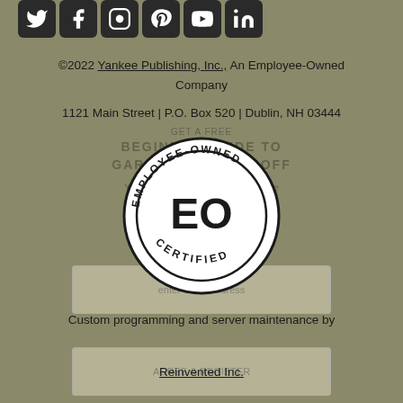[Figure (illustration): Row of social media icons: Twitter, Facebook, Instagram, Pinterest, YouTube, LinkedIn — dark square rounded icons with white logos]
©2022 Yankee Publishing, Inc., An Employee-Owned Company
1121 Main Street | P.O. Box 520 | Dublin, NH 03444
[Figure (logo): Employee-Owned Certified circular seal/stamp logo with EO in center]
Custom programming and server maintenance by
Reinvented Inc.